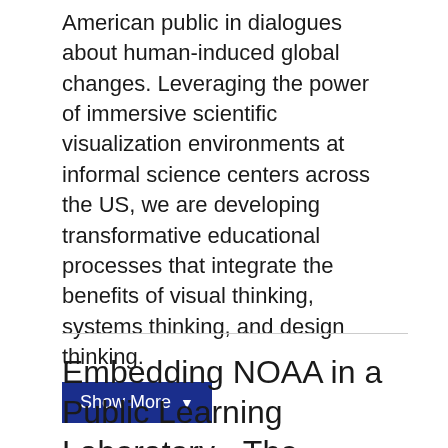American public in dialogues about human-induced global changes. Leveraging the power of immersive scientific visualization environments at informal science centers across the US, we are developing transformative educational processes that integrate the benefits of visual thinking, systems thinking, and design thinking.
Show More ▼
Embedding NOAA in a Public Learning Laboratory - The Environmental Scientist-In-